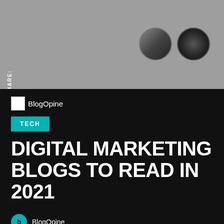[Figure (photo): Gray banner header area with two circular avatar photos on the right side]
SHARE:
[Figure (logo): BlogOpine logo with small image icon and text]
TECH
DIGITAL MARKETING BLOGS TO READ IN 2021
[Figure (logo): BlogOpine footer logo circle with text BlogOpine]